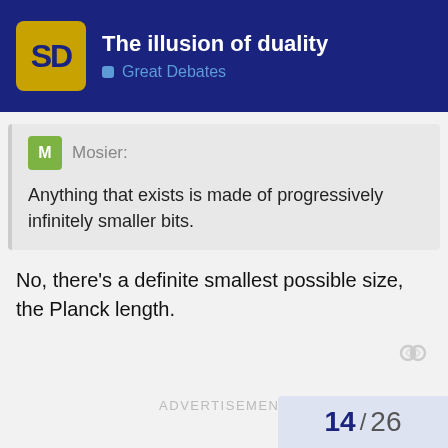SD — The illusion of duality — Great Debates
Mosier: Anything that exists is made of progressively infinitely smaller bits.
No, there's a definite smallest possible size, the Planck length.
ADVERTISEMENT
14 / 26